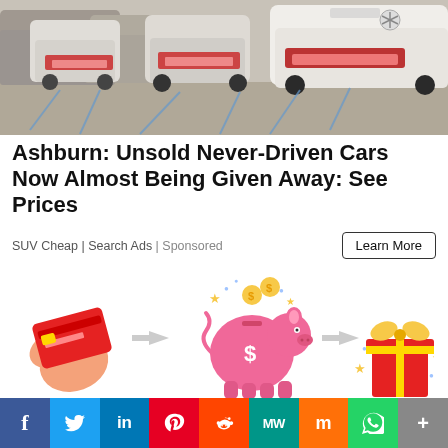[Figure (photo): Row of unsold white/silver cars parked in a lot, viewed from the rear, with tow straps visible on the ground. Mercedes SUV visible on the right.]
Ashburn: Unsold Never-Driven Cars Now Almost Being Given Away: See Prices
SUV Cheap | Search Ads | Sponsored
Learn More
[Figure (illustration): Graphic showing a credit card, arrow, piggy bank with coins, arrow, gift box — illustrating a cashback or rewards flow.]
f  Twitter  in  Pinterest  Reddit  MW  Mix  WhatsApp  More